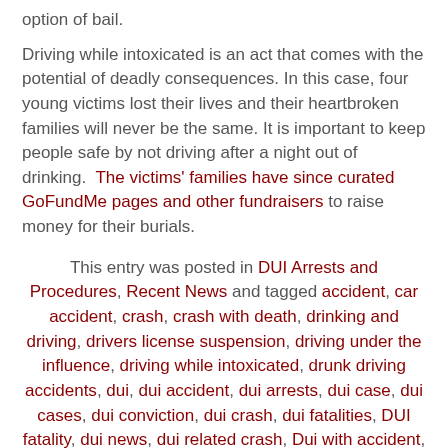option of bail.
Driving while intoxicated is an act that comes with the potential of deadly consequences. In this case, four young victims lost their lives and their heartbroken families will never be the same. It is important to keep people safe by not driving after a night out of drinking.  The victims' families have since curated GoFundMe pages and other fundraisers to raise money for their burials.
This entry was posted in DUI Arrests and Procedures, Recent News and tagged accident, car accident, crash, crash with death, drinking and driving, drivers license suspension, driving under the influence, driving while intoxicated, drunk driving accidents, dui, dui accident, dui arrests, dui case, dui cases, dui conviction, dui crash, dui fatalities, DUI fatality, dui news, dui related crash, Dui with accident, fatal crash, fatal DUI, fatal dui crash, license suspension, suspended licenses